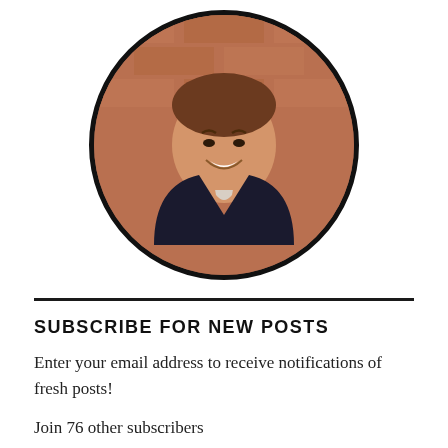[Figure (photo): Circular cropped headshot photo of a smiling man in a dark blazer and light plaid shirt, with a brick wall background]
SUBSCRIBE FOR NEW POSTS
Enter your email address to receive notifications of fresh posts!
Join 76 other subscribers